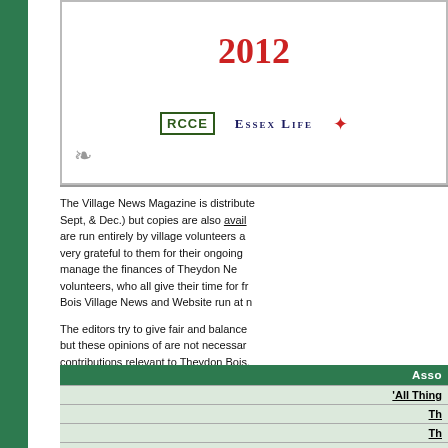[Figure (other): Award certificate image showing the year 2012 in red, with logos for RCCE, Essex Life, and a star/community award logo, with decorative swirl, framed with grey border]
The Village News Magazine is distributed (Sept, & Dec.) but copies are also available and are run entirely by village volunteers and are very grateful to them for their ongoing help to manage the finances of Theydon News volunteers, who all give their time for free Bois Village News and Website run at no cost.
The editors try to give fair and balanced coverage but these opinions of are not necessarily contributions relevant to Theydon Bois, publication.
| Asso... |
| --- |
| 'All Things... |
| Th... |
| Th... |
|  |
| Th... |